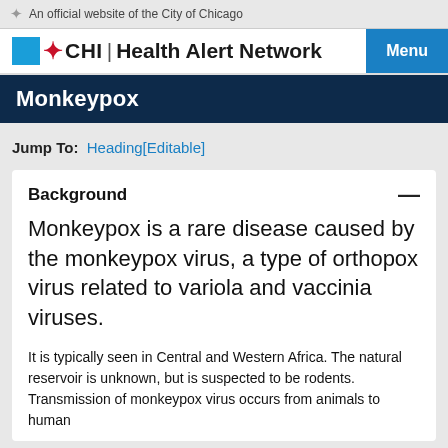An official website of the City of Chicago
CHI | Health Alert Network — Menu
Monkeypox
Jump To: Heading[Editable]
Background
Monkeypox is a rare disease caused by the monkeypox virus, a type of orthopox virus related to variola and vaccinia viruses.
It is typically seen in Central and Western Africa. The natural reservoir is unknown, but is suspected to be rodents. Transmission of monkeypox virus occurs from animals to human